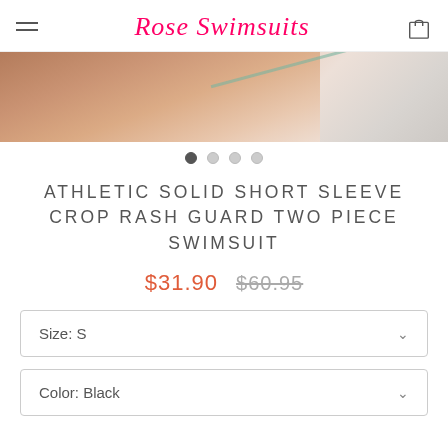Rose Swimsuits
[Figure (photo): Close-up of a person wearing a black swimsuit top, likely modeling the product. A thin rod or stick visible in background.]
ATHLETIC SOLID SHORT SLEEVE CROP RASH GUARD TWO PIECE SWIMSUIT
$31.90  $60.95
Size: S
Color: Black